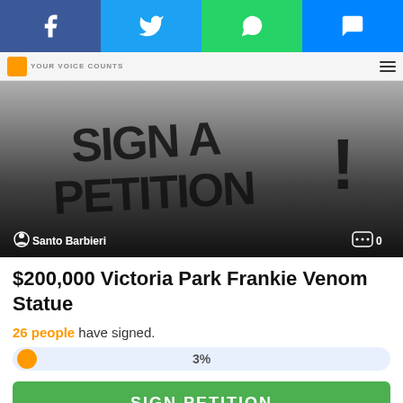[Figure (screenshot): Social media share bar with Facebook (blue), Twitter (light blue), WhatsApp (green), and Messenger (blue) buttons]
YOUR VOICE COUNTS
[Figure (photo): Dark gradient image with handwritten-style text 'SIGN A PETITION !' in black on a grey-to-black background. Author: Santo Barbieri, comments: 0]
$200,000 Victoria Park Frankie Venom Statue
26 people have signed.
3%
SIGN PETITION